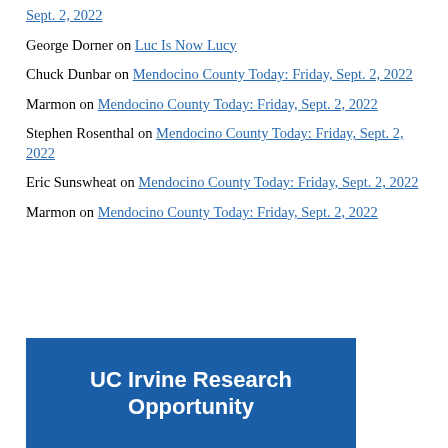Sept. 2, 2022 (link)
George Dorner on Luc Is Now Lucy
Chuck Dunbar on Mendocino County Today: Friday, Sept. 2, 2022
Marmon on Mendocino County Today: Friday, Sept. 2, 2022
Stephen Rosenthal on Mendocino County Today: Friday, Sept. 2, 2022
Eric Sunswheat on Mendocino County Today: Friday, Sept. 2, 2022
Marmon on Mendocino County Today: Friday, Sept. 2, 2022
[Figure (infographic): UC Irvine Research Opportunity banner with white bold text on dark blue background]